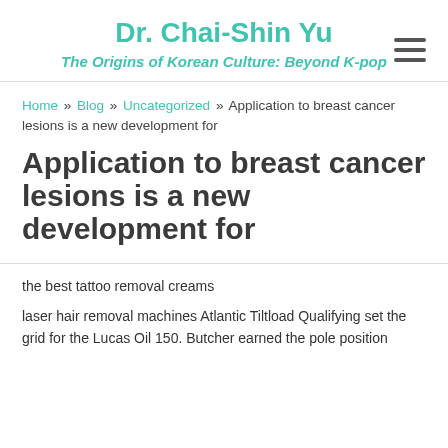Dr. Chai-Shin Yu
The Origins of Korean Culture: Beyond K-pop
Home » Blog » Uncategorized » Application to breast cancer lesions is a new development for
Application to breast cancer lesions is a new development for
the best tattoo removal creams
laser hair removal machines Atlantic Tiltload Qualifying set the grid for the Lucas Oil 150. Butcher earned the pole position